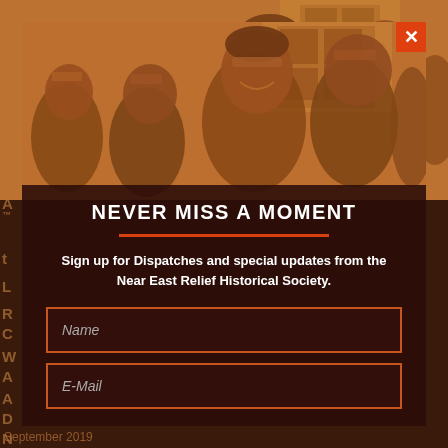[Figure (photo): Sepia-toned historical photograph of a group of people, women and children, looking upward, shielding their eyes from the sun. Orange-brown tinted image.]
NEVER MISS A MOMENT
Sign up for Dispatches and special updates from the Near East Relief Historical Society.
Name
E-Mail